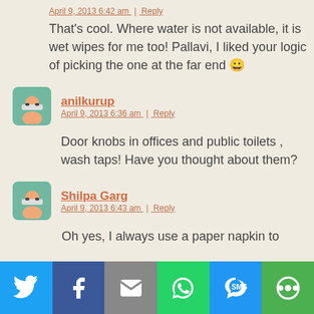April 9, 2013 6:42 am | Reply
That's cool. Where water is not available, it is wet wipes for me too! Pallavi, I liked your logic of picking the one at the far end 😀
anilkurup
April 9, 2013 6:36 am | Reply
Door knobs in offices and public toilets , wash taps! Have you thought about them?
Shilpa Garg
April 9, 2013 6:43 am | Reply
Oh yes, I always use a paper napkin to
[Figure (infographic): Social sharing toolbar with Twitter, Facebook, Email, WhatsApp, SMS, and More buttons]